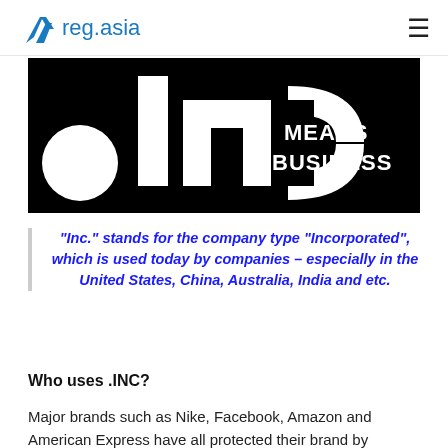reg.asia
[Figure (logo): .inc MEANS BUSINESS banner — black background with large white '.inc' letters and the text 'MEANS BUSINESS' in white on the right side]
“Inc.” stands for the company type “Incorporated”, which is used today by companies – especially in the United States, China, Australia, India and etc.
Who uses .INC?
Major brands such as Nike, Facebook, Amazon and American Express have all protected their brand by